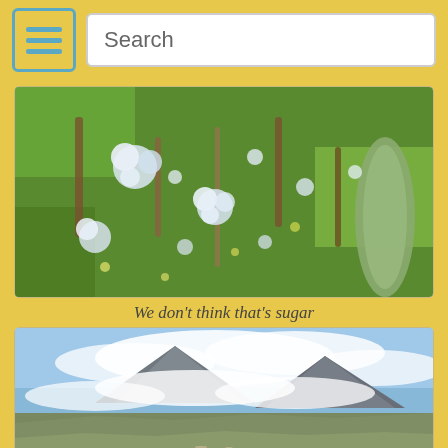Search
[Figure (photo): Close-up macro photograph of frost-covered small alpine plants and flowers with ice crystals on the petals and leaves, green and brown vegetation visible in the background with shallow depth of field]
We don't think that's sugar
[Figure (photo): Wide landscape photograph of a large volcanic mountain (likely Cotopaxi volcano in Ecuador) with clouds wrapping around its slopes, brown-green highland plains in the foreground with some vehicles or animals visible]